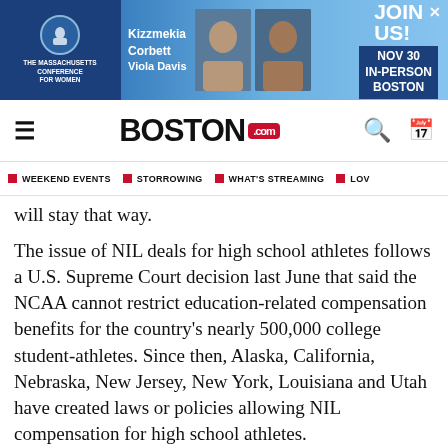[Figure (other): Banner advertisement for The Massachusetts Conference for Women featuring Kizzmekia Corbett and Viola Davis, with text JOIN US! NOV 30 IN-PERSON BOSTON]
BOSTON.com
■ WEEKEND EVENTS ■ STORROWING ■ WHAT'S STREAMING ■ LOV
will stay that way.
The issue of NIL deals for high school athletes follows a U.S. Supreme Court decision last June that said the NCAA cannot restrict education-related compensation benefits for the country's nearly 500,000 college student-athletes. Since then, Alaska, California, Nebraska, New Jersey, New York, Louisiana and Utah have created laws or policies allowing NIL compensation for high school athletes.
Johnson also attends Cardinal Hayes High School